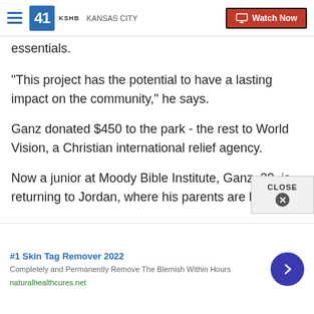41 KSHB KANSAS CITY | Watch Now
essentials.
"This project has the potential to have a lasting impact on the community," he says.
Ganz donated $450 to the park - the rest to World Vision, a Christian international relief agency.
Now a junior at Moody Bible Institute, Ganz, 20, is returning to Jordan, where his parents are helping
[Figure (screenshot): Ad banner: #1 Skin Tag Remover 2022 - Completely and Permanently Remove The Blemish Within Hours - naturalhealthcures.net]